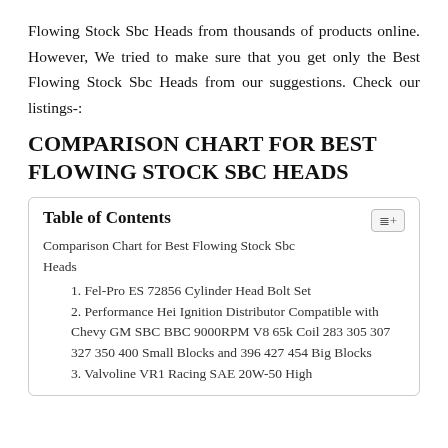Flowing Stock Sbc Heads from thousands of products online. However, We tried to make sure that you get only the Best Flowing Stock Sbc Heads from our suggestions. Check our listings-:
COMPARISON CHART FOR BEST FLOWING STOCK SBC HEADS
| Table of Contents |
| Comparison Chart for Best Flowing Stock Sbc Heads |
| 1. Fel-Pro ES 72856 Cylinder Head Bolt Set |
| 2. Performance Hei Ignition Distributor Compatible with Chevy GM SBC BBC 9000RPM V8 65k Coil 283 305 307 327 350 400 Small Blocks and 396 427 454 Big Blocks |
| 3. Valvoline VR1 Racing SAE 20W-50 High |